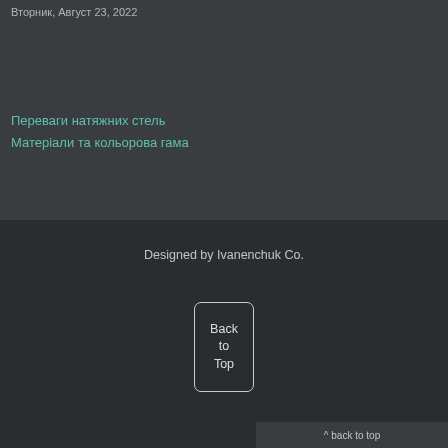Вторник, Август 23, 2022
Переваги натяжних стель
Матеріали та кольорова гама
Designed by Ivanenchuk Co.
[Figure (other): Back to Top button with rounded rectangle border]
^ back to top